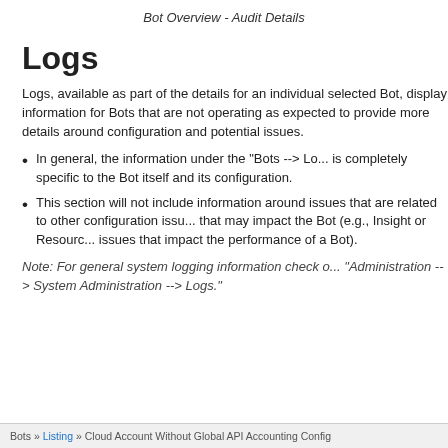Bot Overview - Audit Details
Logs
Logs, available as part of the details for an individual selected Bot, display information for Bots that are not operating as expected to provide more details around configuration and potential issues.
In general, the information under the "Bots --> Lo... is completely specific to the Bot itself and its configuration.
This section will not include information around issues that are related to other configuration issu... that may impact the Bot (e.g., Insight or Resourc... issues that impact the performance of a Bot).
Note: For general system logging information check o... "Administration --> System Administration --> Logs."
Bots » Listing » Cloud Account Without Global API Accounting Config